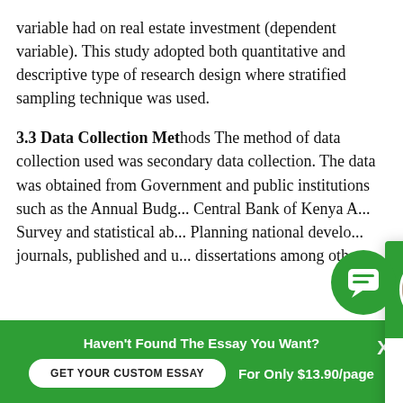variable had on real estate investment (dependent variable). This study adopted both quantitative and descriptive type of research design where stratified sampling technique was used.
3.3 Data Collection Met... collection used was seco... was obtained from Gove... such as the Annual Budg... Central Bank of Kenya A... Survey and statistical ab... Planning national develo... journals, published and u... dissertations among others.
[Figure (screenshot): Chat popup with green header showing avatar of Angel, greeting 'Hi! I'm Angel!', close X button, body text 'Would you like to get a custom essay? How about receiving a customized one?' and 'Check it out' link. Green chat icon bubble in bottom right.]
Haven't Found The Essay You Want?
GET YOUR CUSTOM ESSAY
For Only $13.90/page